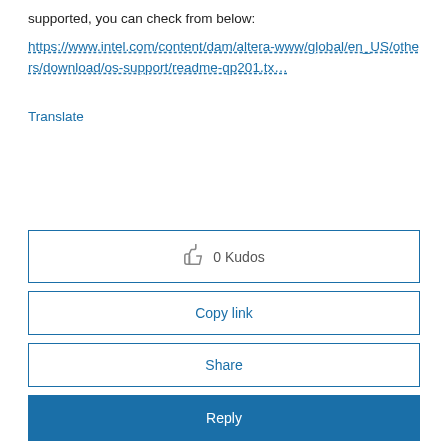supported, you can check from below:
https://www.intel.com/content/dam/altera-www/global/en_US/others/download/os-support/readme-qp201.tx…
Translate
👍 0 Kudos
Copy link
Share
Reply